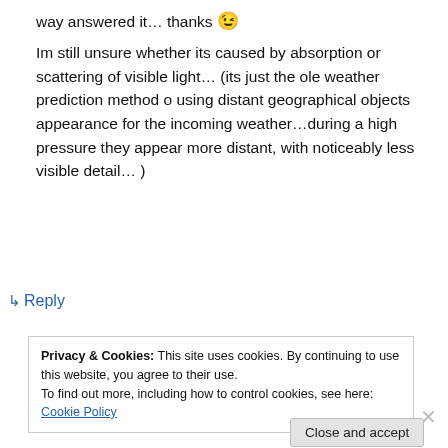way answered it… thanks 😉
Im still unsure whether its caused by absorption or scattering of visible light… (its just the ole weather prediction method o using distant geographical objects appearance for the incoming weather…during a high pressure they appear more distant, with noticeably less visible detail… )
↳ Reply
Privacy & Cookies: This site uses cookies. By continuing to use this website, you agree to their use. To find out more, including how to control cookies, see here: Cookie Policy
Close and accept